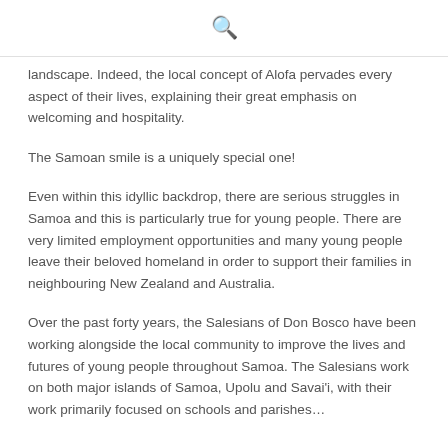🔍
landscape. Indeed, the local concept of Alofa pervades every aspect of their lives, explaining their great emphasis on welcoming and hospitality.
The Samoan smile is a uniquely special one!
Even within this idyllic backdrop, there are serious struggles in Samoa and this is particularly true for young people. There are very limited employment opportunities and many young people leave their beloved homeland in order to support their families in neighbouring New Zealand and Australia.
Over the past forty years, the Salesians of Don Bosco have been working alongside the local community to improve the lives and futures of young people throughout Samoa. The Salesians work on both major islands of Samoa, Upolu and Savai'i, with their work primarily focused on schools and parishes…